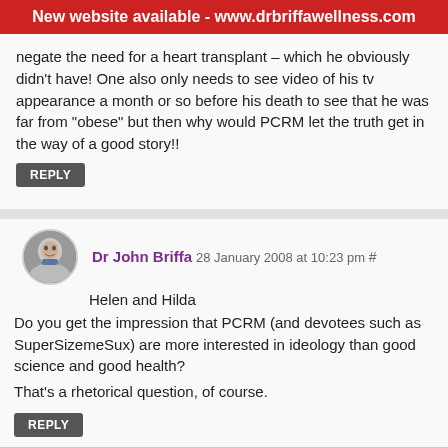New website available - www.drbriffawellness.com
negate the need for a heart transplant – which he obviously didn't have! One also only needs to see video of his tv appearance a month or so before his death to see that he was far from "obese" but then why would PCRM let the truth get in the way of a good story!!
REPLY
Dr John Briffa 28 January 2008 at 10:23 pm #
Helen and Hilda
Do you get the impression that PCRM (and devotees such as SuperSizemeSux) are more interested in ideology than good science and good health?
That's a rhetorical question, of course.
REPLY